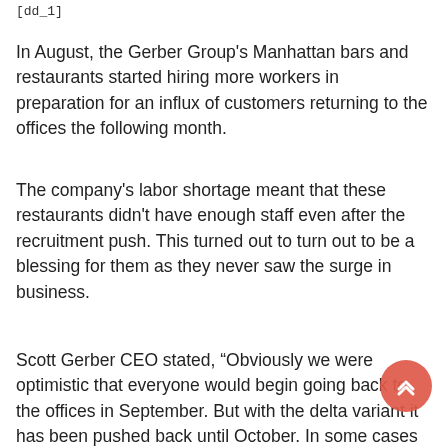[dd_1]
In August, the Gerber Group's Manhattan bars and restaurants started hiring more workers in preparation for an influx of customers returning to the offices the following month.
The company's labor shortage meant that these restaurants didn't have enough staff even after the recruitment push. This turned out to turn out to be a blessing for them as they never saw the surge in business.
Scott Gerber CEO stated, “Obviously we were optimistic that everyone would begin going back to the offices in September. But with the delta variant it has been pushed back until October. In some cases next year.”